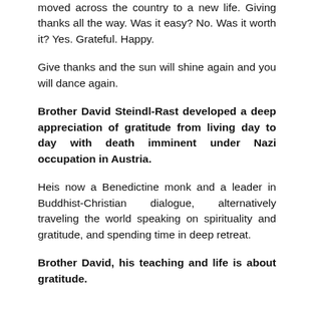moved across the country to a new life. Giving thanks all the way. Was it easy? No. Was it worth it? Yes. Grateful. Happy.
Give thanks and the sun will shine again and you will dance again.
Brother David Steindl-Rast developed a deep appreciation of gratitude from living day to day with death imminent under Nazi occupation in Austria.
Heis now a Benedictine monk and a leader in Buddhist-Christian dialogue, alternatively traveling the world speaking on spirituality and gratitude, and spending time in deep retreat.
Brother David, his teaching and life is about gratitude.